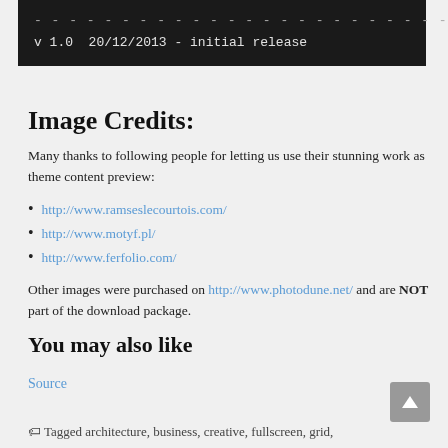- - - - - - - - - - - - - - - - - - - - - - - - - - - - - - - - - - - -
v 1.0  20/12/2013 - initial release
Image Credits:
Many thanks to following people for letting us use their stunning work as theme content preview:
http://www.ramseslecourtois.com/
http://www.motyf.pl/
http://www.ferfolio.com/
Other images were purchased on http://www.photodune.net/ and are NOT part of the download package.
You may also like
Source
Tagged architecture, business, creative, fullscreen, grid,